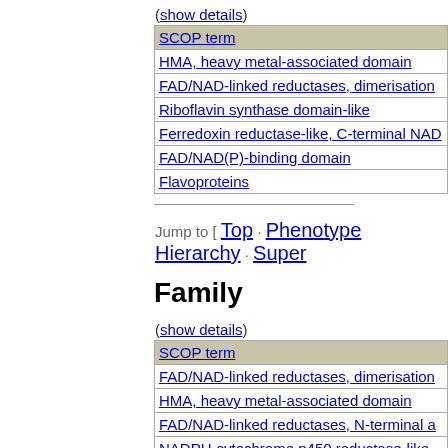(show details)
| SCOP term |
| --- |
| HMA, heavy metal-associated domain |
| FAD/NAD-linked reductases, dimerisation… |
| Riboflavin synthase domain-like |
| Ferredoxin reductase-like, C-terminal NAD… |
| FAD/NAD(P)-binding domain |
| Flavoproteins |
Jump to [ Top · Phenotype Hierarchy · Super…
Family
(show details)
| SCOP term |
| --- |
| FAD/NAD-linked reductases, dimerisation… |
| HMA, heavy metal-associated domain |
| FAD/NAD-linked reductases, N-terminal a… |
| NADPH-cytochrome p450 reductase-like |